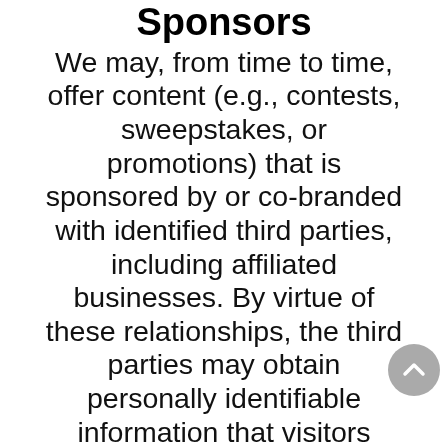Sponsors
We may, from time to time, offer content (e.g., contests, sweepstakes, or promotions) that is sponsored by or co-branded with identified third parties, including affiliated businesses. By virtue of these relationships, the third parties may obtain personally identifiable information that visitors voluntarily submit to participate in the site activity. We have no control over these third parties' use of this information. Since these third parties will use your